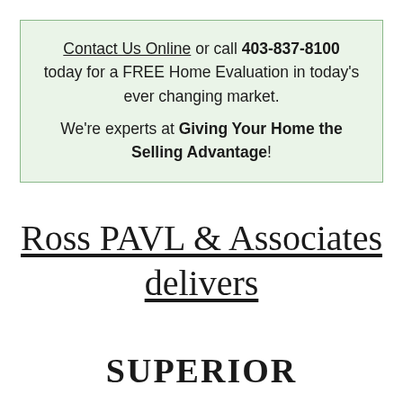Contact Us Online or call 403-837-8100 today for a FREE Home Evaluation in today's ever changing market. We're experts at Giving Your Home the Selling Advantage!
Ross PAVL & Associates delivers
SUPERIOR